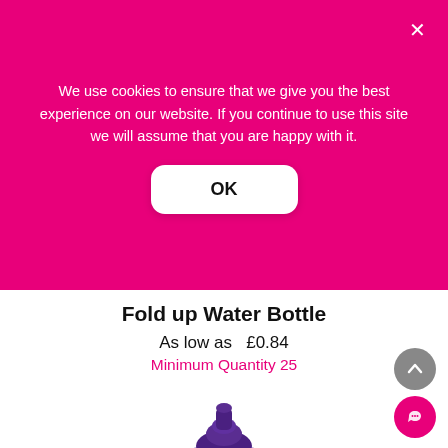We use cookies to ensure that we give you the best experience on our website. If you continue to use this site we will assume that you are happy with it.
OK
Fold up Water Bottle
As low as  £0.84
Minimum Quantity 25
[Figure (photo): Fold up water bottle with purple lid and clear/translucent body, viewed from above showing the screw cap and nozzle.]